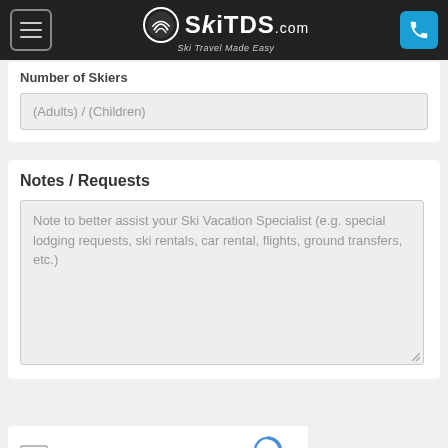SkiTDS.com — Ski Travel Made Easy
Number of Skiers
(Adults) / (Children)
Notes / Requests
Note to better assist your Ski Vacation Specialist (e.g. special lodging requests, ski rentals, car rental, flights, ground transfers, etc.)
[Figure (other): reCAPTCHA widget with checkbox labeled I'm not a robot and reCAPTCHA logo with Privacy and Terms links]